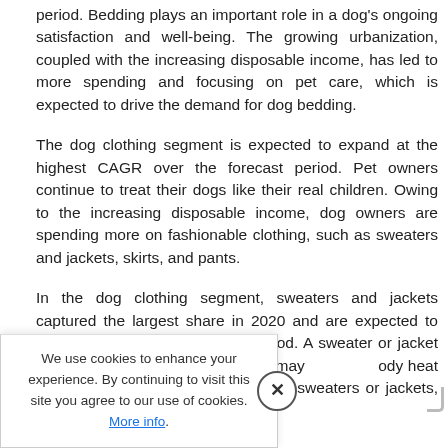period. Bedding plays an important role in a dog's ongoing satisfaction and well-being. The growing urbanization, coupled with the increasing disposable income, has led to more spending and focusing on pet care, which is expected to drive the demand for dog bedding.
The dog clothing segment is expected to expand at the highest CAGR over the forecast period. Pet owners continue to treat their dogs like their real children. Owing to the increasing disposable income, dog owners are spending more on fashionable clothing, such as sweaters and jackets, skirts, and pants.
In the dog clothing segment, sweaters and jackets captured the largest share in 2020 and are expected to witness the [forecast] period. A sweater or jacket [during the] cold season. Some dogs may [retain] body heat on their own and may [need] sweaters or jackets, during
We use cookies to enhance your experience. By continuing to visit this site you agree to our use of cookies. More info.